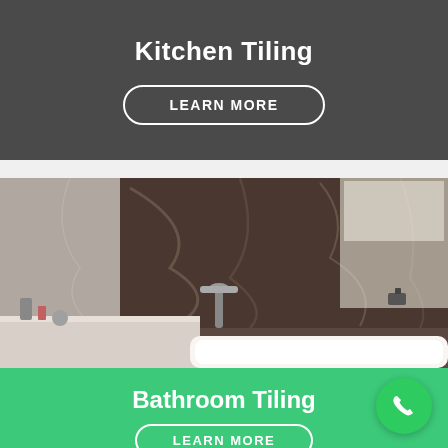Kitchen Tiling
LEARN MORE
[Figure (photo): Bathroom interior with dark marble/stone tile walls, a white vanity, chrome faucets, and a freestanding white bathtub. Natural light comes through a window.]
Bathroom Tiling
LEARN MORE